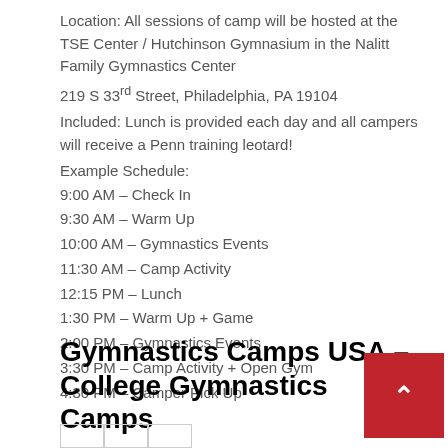Location: All sessions of camp will be hosted at the TSE Center / Hutchinson Gymnasium in the Nalitt Family Gymnastics Center
219 S 33rd Street, Philadelphia, PA 19104
Included: Lunch is provided each day and all campers will receive a Penn training leotard!
Example Schedule:
9:00 AM – Check In
9:30 AM – Warm Up
10:00 AM – Gymnastics Events
11:30 AM – Camp Activity
12:15 PM – Lunch
1:30 PM – Warm Up + Game
2:00 PM – Gymnastics Events
3:30 PM – Camp Activity + Open Gym
4:30 PM – Camper Pick Up
Gymnastics Camps USA – College Gymnastics Camps